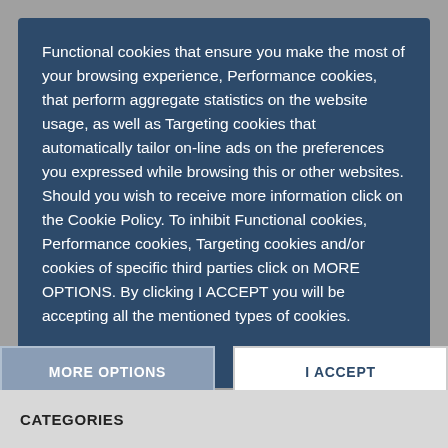Functional cookies that ensure you make the most of your browsing experience, Performance cookies, that perform aggregate statistics on the website usage, as well as Targeting cookies that automatically tailor on-line ads on the preferences you expressed while browsing this or other websites. Should you wish to receive more information click on the Cookie Policy. To inhibit Functional cookies, Performance cookies, Targeting cookies and/or cookies of specific third parties click on MORE OPTIONS. By clicking I ACCEPT you will be accepting all the mentioned types of cookies.
MORE OPTIONS
I ACCEPT
CATEGORIES